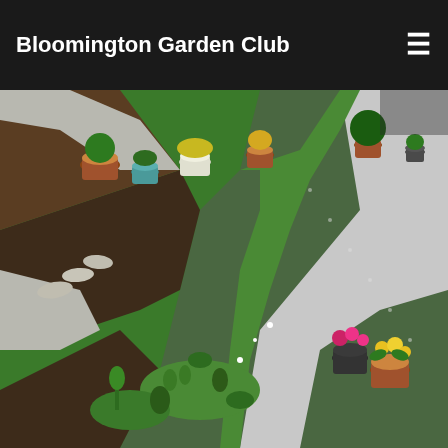Bloomington Garden Club
[Figure (photo): Aerial view of a garden with a winding white gravel path bordered by green grass, flower beds with potted plants in terracotta and ceramic pots, and mulched planting areas with various plants and flowers.]